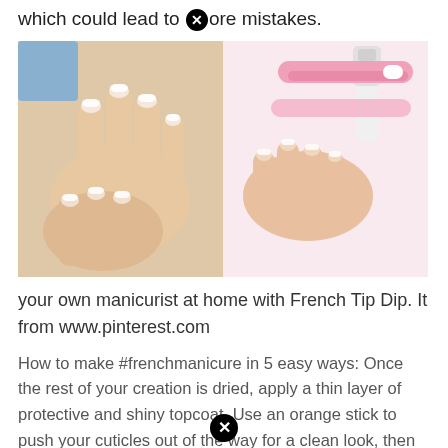which could lead to [X]ore mistakes.
[Figure (photo): Two photos side by side: left shows hands with French manicure nails, right shows hands using a French Tip Dip tool with a pink applicator.]
your own manicurist at home with French Tip Dip. It from www.pinterest.com
How to make #frenchmanicure in 5 easy ways: Once the rest of your creation is dried, apply a thin layer of protective and shiny topcoat. Use an orange stick to push your cuticles out of the way for a clean look, then apply cuticle oil to moisturize the cuticle and help protect your nails.